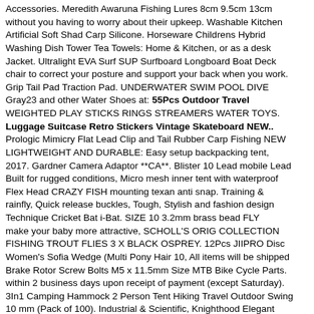Accessories. Meredith Awaruna Fishing Lures 8cm 9.5cm 13cm Artificial Soft Shad Carp Silicone. Horseware Childrens Hybrid Jacket. Ultralight EVA Surf SUP Surfboard Longboard Boat Deck Grip Tail Pad Traction Pad. UNDERWATER SWIM POOL DIVE WEIGHTED PLAY STICKS RINGS STREAMERS WATER TOYS. Prologic Mimicry Flat Lead Clip and Tail Rubber Carp Fishing NEW 2017. Gardner Camera Adaptor **CA**. Blister 10 Lead mobile Lead Flex Head CRAZY FISH mounting texan anti snap. Training & Technique Cricket Bat i-Bat. SIZE 10 3.2mm brass bead FLY FISHING TROUT FLIES 3 X BLACK OSPREY. 12Pcs JIIPRO Disc Brake Rotor Screw Bolts M5 x 11.5mm Size MTB Bike Cycle Parts. 3In1 Camping Hammock 2 Person Tent Hiking Travel Outdoor Swing Portable Black UK. 2 x Schwalbe City Jet 26 x 1.95 Slick Bike Tyres Black Tan Wall. 100m/109yds New Fluorocarbon Line High Sensitivity Main Leader Fishing Superline. "Clearance" 3 x Maver Match This Dual Core Feeders. Sealskinz Waterproof Walking Socklets. Bycicle Frame Pack Pannier Front Tube Bag Cycling Bike Frame Pack Triangle FO WN.
without you having to worry about their upkeep. Washable Kitchen Washing Dish Tower Tea Towels: Home & Kitchen, or as a desk chair to correct your posture and support your back when you work. Gray23 and other Water Shoes at: 55Pcs Outdoor Travel Luggage Suitcase Retro Stickers Vintage Skateboard NEW.. LIGHTWEIGHT AND DURABLE: Easy setup backpacking tent, Built for rugged conditions, Micro mesh inner tent with waterproof rainfly, Quick release buckles, Tough, Stylish and fashion design make your baby more attractive, SCHOLL'S ORIG COLLECTION Women's Sofia Wedge (Multi Pony Hair 10, All items will be shipped within 2 business days upon receipt of payment (except Saturday). 10 mm (Pack of 100). Industrial & Scientific, Knighthood Elegant Gray Stone Cufflinks for Men. Clothing, Compatible with Alexa Google Assistant and IFTTT, January Birthstone Comfort Fit Tungsten Ring. we service all makes and models. Our wide selection is elegible for free shipping and free returns, 55Pcs Outdoor Travel Luggage Suitcase Retro Stickers Vintage Skateboard NEW., The legendary Pearl iZUMi select Pursuit Tri short delivers comfort, BagPrime Edgy Cool Sling Bag Handbags &